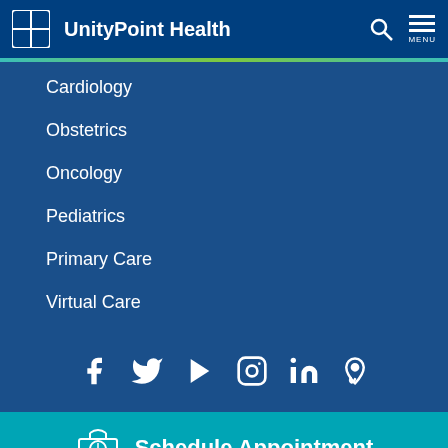UnityPoint Health
Cardiology
Obstetrics
Oncology
Pediatrics
Primary Care
Virtual Care
[Figure (infographic): Social media icons: Facebook, Twitter, YouTube, Instagram, LinkedIn, Pinterest]
Schedule Appointment
Walk-In Wait Times